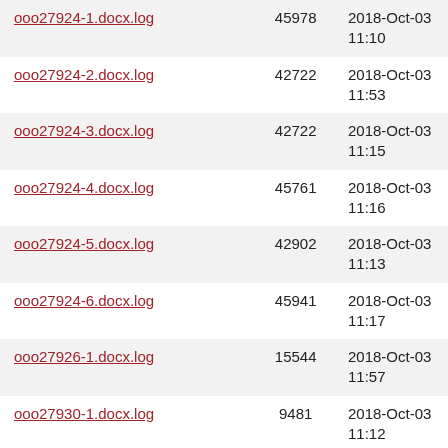| ooo27924-1.docx.log | 45978 | 2018-Oct-03 11:10 |
| ooo27924-2.docx.log | 42722 | 2018-Oct-03 11:53 |
| ooo27924-3.docx.log | 42722 | 2018-Oct-03 11:15 |
| ooo27924-4.docx.log | 45761 | 2018-Oct-03 11:16 |
| ooo27924-5.docx.log | 42902 | 2018-Oct-03 11:13 |
| ooo27924-6.docx.log | 45941 | 2018-Oct-03 11:17 |
| ooo27926-1.docx.log | 15544 | 2018-Oct-03 11:57 |
| ooo27930-1.docx.log | 9481 | 2018-Oct-03 11:12 |
| ooo27942-1.docx.log | 41202 | 2018-Oct-03 11:15 |
| ooo27942-2.docx.log | 39704 | 2018-Oct-03 11:19 |
| ooo27946-1.docx.log | 28817 | 2018-Oct-03 11:52 |
| ooo27946-2.docx.log | 30061 | 2018-Oct-03 |